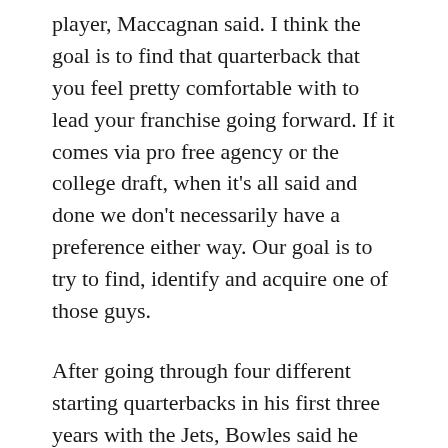player, Maccagnan said. I think the goal is to find that quarterback that you feel pretty comfortable with to lead your franchise going forward. If it comes via pro free agency or the college draft, when it's all said and done we don't necessarily have a preference either way. Our goal is to try to find, identify and acquire one of those guys.
After going through four different starting quarterbacks in his first three years with the Jets, Bowles said he does not care if the quarterback comes from the draft or free agency.
We're just looking for the right fit, Bowles said. Be it a veteran quarterback or a younger guy, we've got to make sure we've got the right fit for